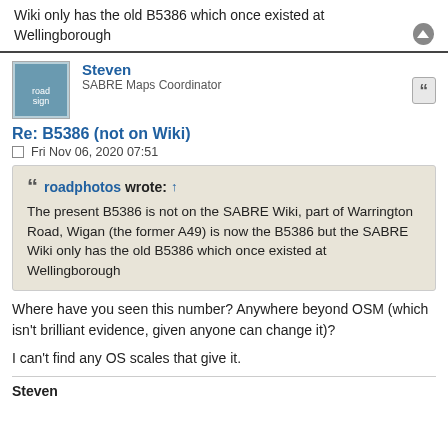Wiki only has the old B5386 which once existed at Wellingborough
Steven
SABRE Maps Coordinator
Re: B5386 (not on Wiki)
Fri Nov 06, 2020 07:51
roadphotos wrote: ↑
The present B5386 is not on the SABRE Wiki, part of Warrington Road, Wigan (the former A49) is now the B5386 but the SABRE Wiki only has the old B5386 which once existed at Wellingborough
Where have you seen this number? Anywhere beyond OSM (which isn't brilliant evidence, given anyone can change it)?
I can't find any OS scales that give it.
Steven